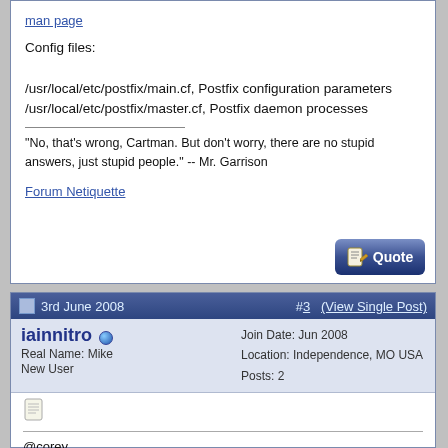man page
Config files:

/usr/local/etc/postfix/main.cf, Postfix configuration parameters
/usr/local/etc/postfix/master.cf, Postfix daemon processes
"No, that's wrong, Cartman. But don't worry, there are no stupid answers, just stupid people." -- Mr. Garrison
Forum Netiquette
3rd June 2008   #3   (View Single Post)
iainnitro
Real Name: Mike
New User
Join Date: Jun 2008
Location: Independence, MO USA
Posts: 2
@corey

Thanks for the reply. I have been trying to do it via O' Reilly's definite guide and because I do better with examples of the file entrys. thought I would seek the help.